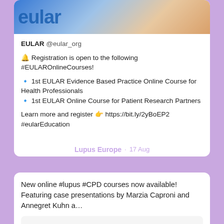[Figure (screenshot): EULAR banner image showing partial logo text 'eular' in blue with a person in background]
EULAR @eular_org
🔔 Registration is open to the following #EULAROnlineCourses!

🔹 1st EULAR Evidence Based Practice Online Course for Health Professionals
🔹 1st EULAR Online Course for Patient Research Partners

Learn more and register 👉 https://bit.ly/2yBoEP2
#eularEducation
Lupus Europe · 17 Aug
New online #lupus #CPD courses now available! Featuring case presentations by Marzia Caproni and Annegret Kuhn a…
[Figure (screenshot): Video thumbnail with play button]